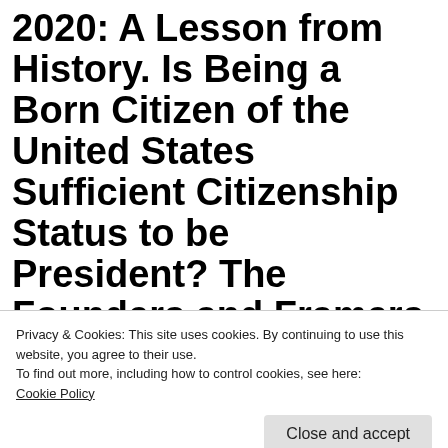2020: A Lesson from History. Is Being a Born Citizen of the United States Sufficient Citizenship Status to be President? The Founders and Framers Emphatically Decided No It Was Not! by CDR
Privacy & Cookies: This site uses cookies. By continuing to use this website, you agree to their use.
To find out more, including how to control cookies, see here: Cookie Policy
Close and accept
[Figure (photo): Bottom strip showing a historical document image on the left and italic text on the right]